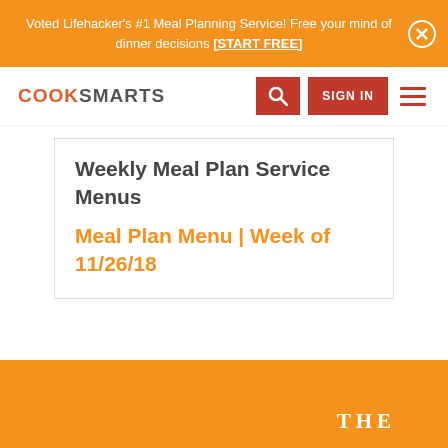Voted Lifehacker's #1 Meal Planning Service! Free your mind of dinner decisions [START FREE]
[Figure (screenshot): CookSmarts navigation bar with logo, search button, sign in button, and hamburger menu]
Weekly Meal Plan Service Menus
Meal Plan Menu | Week of 11/26/18
[Figure (other): Orange footer bar with 'THE' text in serif font]